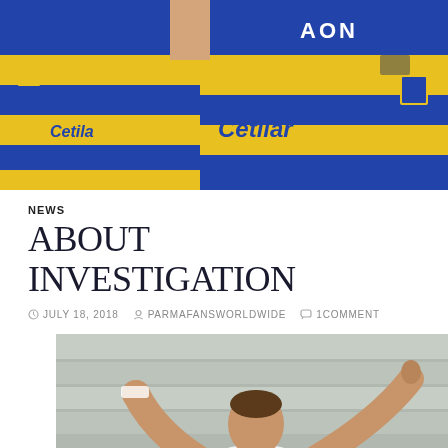[Figure (photo): Football players in yellow and blue Parma Calcio jerseys with Cetilar and AON sponsors]
NEWS
ABOUT INVESTIGATION
JULY 18, 2018  PARMAFANSWORLDWIDE  1COMMENT
[Figure (photo): Football player in white and black Parma Calcio jersey celebrating with arms outstretched in a stadium]